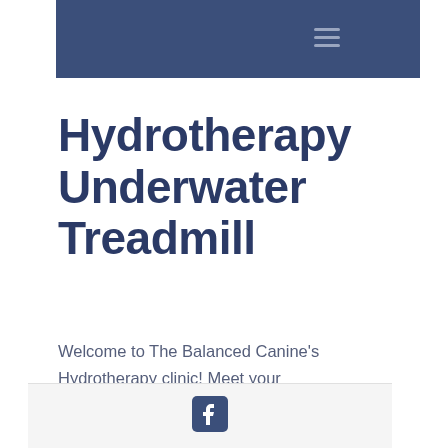[Figure (other): Dark navy blue header navigation bar with hamburger menu icon (three horizontal lines) on the right side]
Hydrotherapy Underwater Treadmill
Welcome to The Balanced Canine's Hydrotherapy clinic! Meet your Hydrotherapist Lance Garmonsway, dogs love him!
[Figure (logo): Facebook logo icon in dark blue square with rounded corners, centered in light grey footer bar]